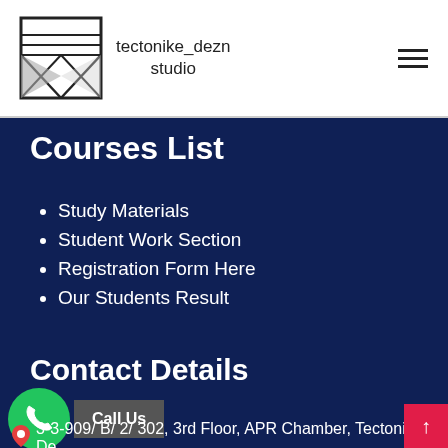[Figure (logo): tectonike_dezn studio logo with geometric envelope/diamond icon]
Courses List
Study Materials
Student Work Section
Registration Form Here
Our Students Result
Contact Details
Call Us
3-3-909/ B/ 2/ 302, 3rd Floor, APR Chamber, Tectonike De...